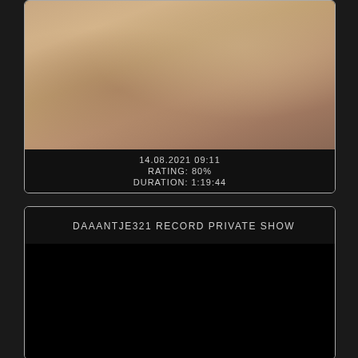[Figure (photo): Close-up photo of skin/body part with warm beige and brown tones]
14.08.2021 09:11
RATING: 80%
DURATION: 1:19:44
DAAANTJE321 RECORD PRIVATE SHOW
[Figure (photo): Black/dark video thumbnail area]